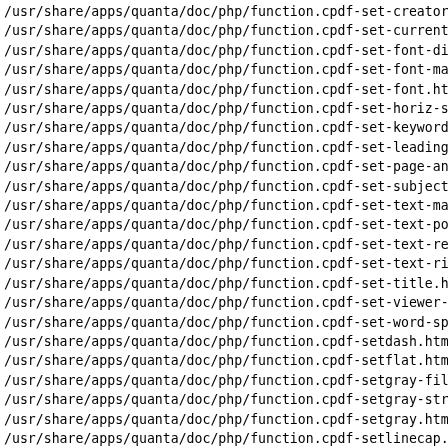/usr/share/apps/quanta/doc/php/function.cpdf-set-creator
/usr/share/apps/quanta/doc/php/function.cpdf-set-current-
/usr/share/apps/quanta/doc/php/function.cpdf-set-font-dir
/usr/share/apps/quanta/doc/php/function.cpdf-set-font-map
/usr/share/apps/quanta/doc/php/function.cpdf-set-font.htm
/usr/share/apps/quanta/doc/php/function.cpdf-set-horiz-sc
/usr/share/apps/quanta/doc/php/function.cpdf-set-keywords
/usr/share/apps/quanta/doc/php/function.cpdf-set-leading
/usr/share/apps/quanta/doc/php/function.cpdf-set-page-ani
/usr/share/apps/quanta/doc/php/function.cpdf-set-subject
/usr/share/apps/quanta/doc/php/function.cpdf-set-text-mat
/usr/share/apps/quanta/doc/php/function.cpdf-set-text-pos
/usr/share/apps/quanta/doc/php/function.cpdf-set-text-ren
/usr/share/apps/quanta/doc/php/function.cpdf-set-text-ris
/usr/share/apps/quanta/doc/php/function.cpdf-set-title.ht
/usr/share/apps/quanta/doc/php/function.cpdf-set-viewer-p
/usr/share/apps/quanta/doc/php/function.cpdf-set-word-spa
/usr/share/apps/quanta/doc/php/function.cpdf-setdash.html
/usr/share/apps/quanta/doc/php/function.cpdf-setflat.html
/usr/share/apps/quanta/doc/php/function.cpdf-setgray-fill
/usr/share/apps/quanta/doc/php/function.cpdf-setgray-stro
/usr/share/apps/quanta/doc/php/function.cpdf-setgray.html
/usr/share/apps/quanta/doc/php/function.cpdf-setlinecap.h
/usr/share/apps/quanta/doc/php/function.cpdf-setlinejoin
/usr/share/apps/quanta/doc/php/function.cpdf-setlinewidth
/usr/share/apps/quanta/doc/php/function.cpdf-setmiterlim
/usr/share/apps/quanta/doc/php/function.cpdf-setrgbcolor-
/usr/share/apps/quanta/doc/php/function.cpdf-setrgbcolor-
/usr/share/apps/quanta/doc/php/function.cpdf-setrgbcolor-
/usr/share/apps/quanta/doc/php/function.cpdf-show-xy.htm